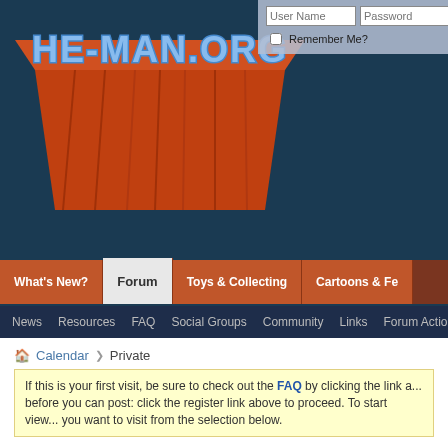[Figure (screenshot): HE-MAN.ORG website logo with blue metallic text and orange geometric background]
User Name | Password | Remember Me?
What's New? | Forum | Toys & Collecting | Cartoons & Fe...
News | Resources | FAQ | Social Groups | Community | Links | Forum Actions | Quick Links
Calendar ❯ Private
If this is your first visit, be sure to check out the FAQ by clicking the link a... before you can post: click the register link above to proceed. To start view... you want to visit from the selection below.
Private
Year | Month | Week | Day
November 2010
Sunday
28